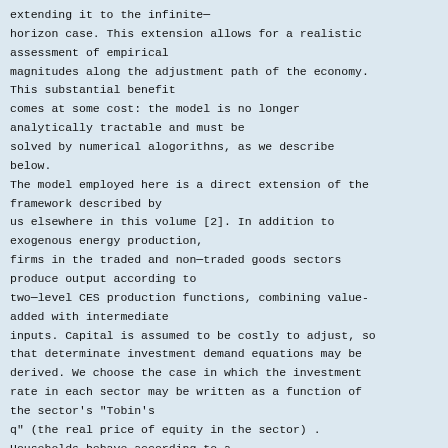extending it to the infinite-horizon case. This extension allows for a realistic assessment of empirical magnitudes along the adjustment path of the economy. This substantial benefit comes at some cost: the model is no longer analytically tractable and must be solved by numerical alogorithns, as we describe below.
The model employed here is a direct extension of the framework described by us elsewhere in this volume [2]. In addition to exogenous energy production, firms in the traded and non-traded goods sectors produce output according to two-level CES production functions, combining value-added with intermediate inputs. Capital is assumed to be costly to adjust, so that determinate investment demand equations may be derived. We choose the case in which the investment rate in each sector may be written as a function of the sector's "Tobin's q" (the real price of equity in the sector) . Households behave according to a life-cycle consumption model. Finally, domestic and foreign capital markets are fully integrated, so that home assets must earn the world rate of return. The entire model is solved as a perfect foresight, intertemporal equilibrium, in which various policies may be analyzed without being subject to the "Lucas